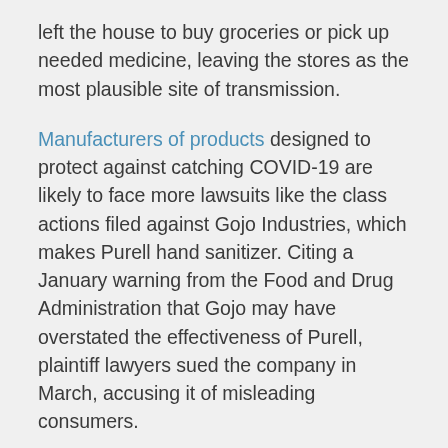left the house to buy groceries or pick up needed medicine, leaving the stores as the most plausible site of transmission.
Manufacturers of products designed to protect against catching COVID-19 are likely to face more lawsuits like the class actions filed against Gojo Industries, which makes Purell hand sanitizer. Citing a January warning from the Food and Drug Administration that Gojo may have overstated the effectiveness of Purell, plaintiff lawyers sued the company in March, accusing it of misleading consumers.
Class action lawyers are also likely to prepare massive lawsuits seeking “medical monitoring” payments for millions of people, exploiting an emerging theory that some courts have endorsed in which plaintiffs receive money that